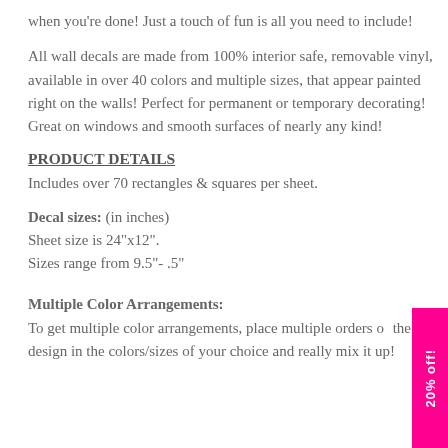when you're done! Just a touch of fun is all you need to include!
All wall decals are made from 100% interior safe, removable vinyl, available in over 40 colors and multiple sizes, that appear painted right on the walls! Perfect for permanent or temporary decorating! Great on windows and smooth surfaces of nearly any kind!
PRODUCT DETAILS
Includes over 70 rectangles & squares per sheet.
Decal sizes: (in inches)
Sheet size is 24"x12".
Sizes range from 9.5"- .5"
Multiple Color Arrangements:
To get multiple color arrangements, place multiple orders of the design in the colors/sizes of your choice and really mix it up!